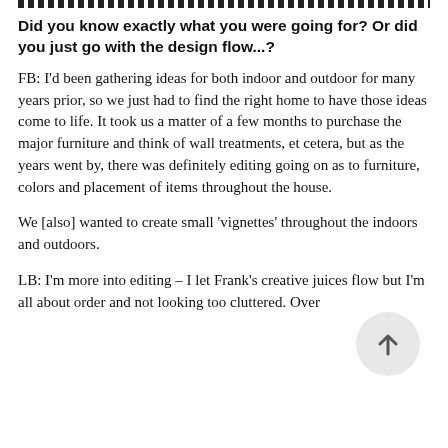Did you know exactly what you were going for? Or did you just go with the design flow...?
FB: I'd been gathering ideas for both indoor and outdoor for many years prior, so we just had to find the right home to have those ideas come to life. It took us a matter of a few months to purchase the major furniture and think of wall treatments, et cetera, but as the years went by, there was definitely editing going on as to furniture, colors and placement of items throughout the house.
We [also] wanted to create small 'vignettes' throughout the indoors and outdoors.
LB: I'm more into editing – I let Frank's creative juices flow but I'm all about order and not looking too cluttered. Over